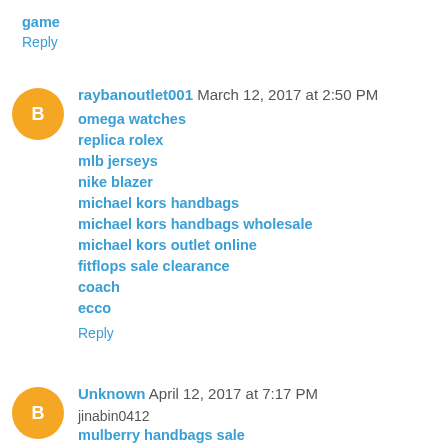game
Reply
raybanoutlet001 March 12, 2017 at 2:50 PM
omega watches
replica rolex
mlb jerseys
nike blazer
michael kors handbags
michael kors handbags wholesale
michael kors outlet online
fitflops sale clearance
coach
ecco
Reply
Unknown April 12, 2017 at 7:17 PM
jinabin0412
mulberry handbags sale